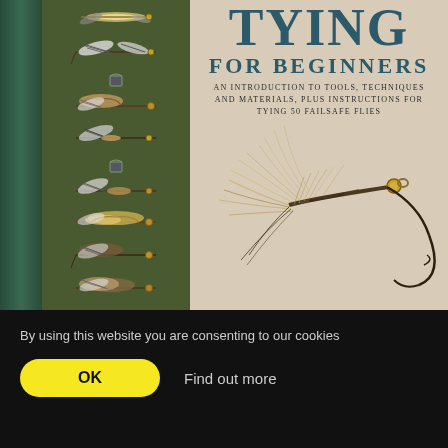[Figure (photo): Book cover of a fly-tying book showing the title 'TYING FOR BEGINNERS' with subtitle 'An introduction to tools, techniques and materials, plus instructions for tying 50 failsafe flies'. The cover features a large close-up photo of a fishing fly on a beige background, and a dark green strip on the left showing multiple smaller fly illustrations. A dark spine is visible on the far left.]
By using this website you are consenting to our cookies
OK
Find out more